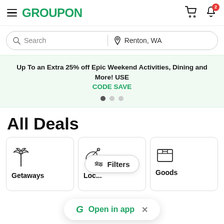GROUPON
Search | Renton, WA
Up To an Extra 25% off Epic Weekend Activities, Dining and More! USE CODE SAVE
All Deals
[Figure (infographic): Category cards: Getaways (palm tree icon), Local (satellite dish icon), Goods (box icon), with Filters pill overlay and Open in app banner]
602 deals